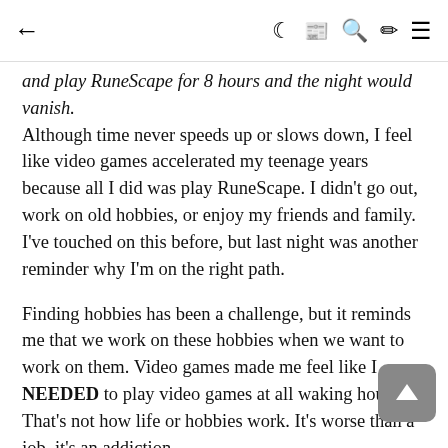← ☾ 📰 🔍 ✏ ≡
and play RuneScape for 8 hours and the night would vanish. Although time never speeds up or slows down, I feel like video games accelerated my teenage years because all I did was play RuneScape.  I didn't go out, work on old hobbies, or enjoy my friends and family.  I've touched on this before, but last night was another reminder why I'm on the right path.
Finding hobbies has been a challenge, but it reminds me that we work on these hobbies when we want to work on them.  Video games made me feel like I NEEDED to play video games at all waking hours.  That's not how life or hobbies work.  It's worse than a job, it's an addiction.
Moving on, my goals for today are simple:
Take another online writing class for my cartoon script I'm working on
Meal prep 4-8 meals for lunch and dinner this week
Practice writing in the software "Celtx" for my script instead of Microsoft Word